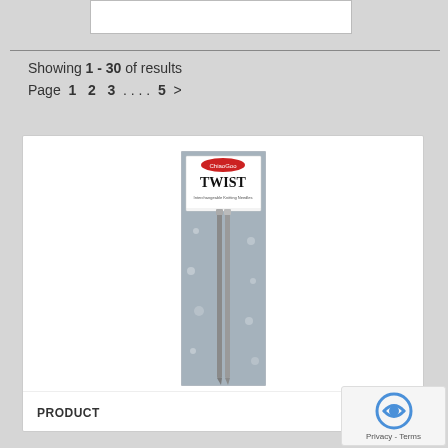Showing 1 - 30 of results
Page  1  2  3  ....  5  >
[Figure (photo): Product package of ChiaoGoo TWIST interchangeable knitting needles in a gray floral packaging with two metal needle tips visible.]
PRODUCT